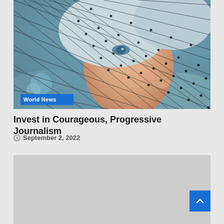[Figure (photo): Close-up portrait of a woman in side profile wearing a black mesh/net veil over her face and hair, blue eyes visible, warm skin tones, soft blurred background]
Invest in Courageous, Progressive Journalism
September 2, 2022
[Figure (photo): Gray placeholder image block]